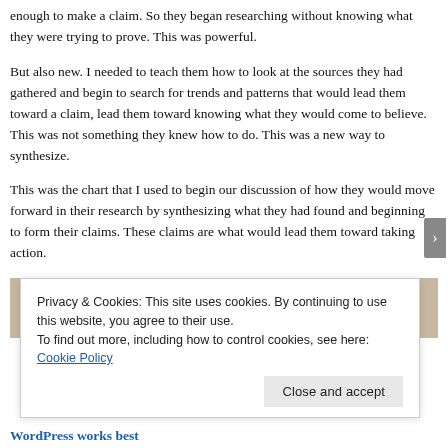enough to make a claim. So they began researching without knowing what they were trying to prove. This was powerful.
But also new. I needed to teach them how to look at the sources they had gathered and begin to search for trends and patterns that would lead them toward a claim, lead them toward knowing what they would come to believe. This was not something they knew how to do. This was a new way to synthesize.
This was the chart that I used to begin our discussion of how they would move forward in their research by synthesizing what they had found and beginning to form their claims. These claims are what would lead them toward taking action.
[Figure (photo): Partial view of a tan/beige colored chart or poster on a surface]
Privacy & Cookies: This site uses cookies. By continuing to use this website, you agree to their use.
To find out more, including how to control cookies, see here: Cookie Policy
Close and accept
WordPress works best